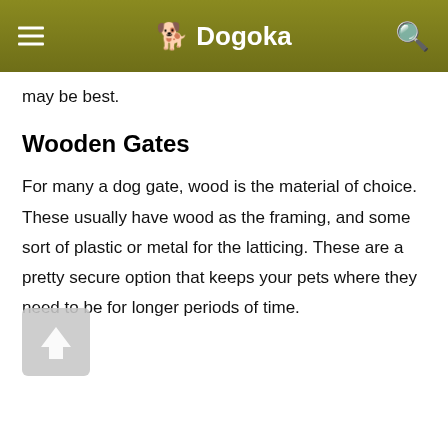Dogoka
may be best.
Wooden Gates
For many a dog gate, wood is the material of choice. These usually have wood as the framing, and some sort of plastic or metal for the latticing. These are a pretty secure option that keeps your pets where they need to be for longer periods of time.